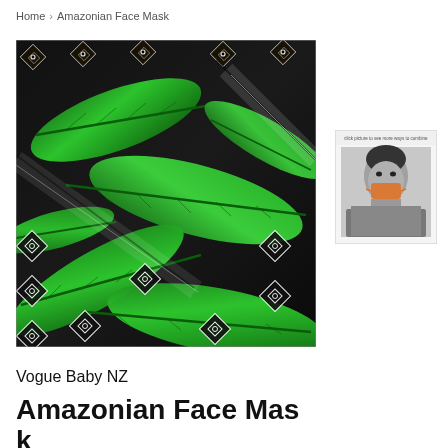Home > Amazonian Face Mask
[Figure (photo): Close-up photo of green tropical/Amazonian leaf fabric pattern with black and white geometric diamond/aztec print overlay, vibrant green leaves intertwined with black and white woven geometric pattern]
[Figure (photo): Small thumbnail image of a person wearing the Amazonian face mask, shown in black and white with the mask highlighted in orange, with small text label above]
Vogue Baby NZ
Amazonian Face Mask